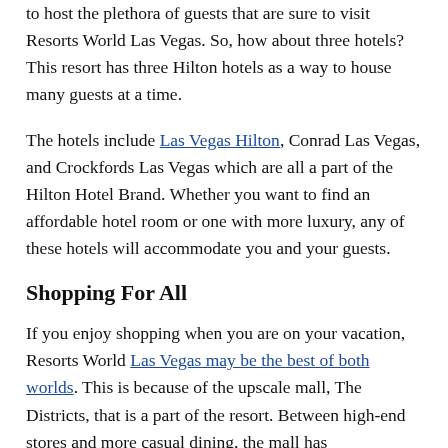to host the plethora of guests that are sure to visit Resorts World Las Vegas. So, how about three hotels? This resort has three Hilton hotels as a way to house many guests at a time.
The hotels include Las Vegas Hilton, Conrad Las Vegas, and Crockfords Las Vegas which are all a part of the Hilton Hotel Brand. Whether you want to find an affordable hotel room or one with more luxury, any of these hotels will accommodate you and your guests.
Shopping For All
If you enjoy shopping when you are on your vacation, Resorts World Las Vegas may be the best of both worlds. This is because of the upscale mall, The Districts, that is a part of the resort. Between high-end stores and more casual dining, the mall has